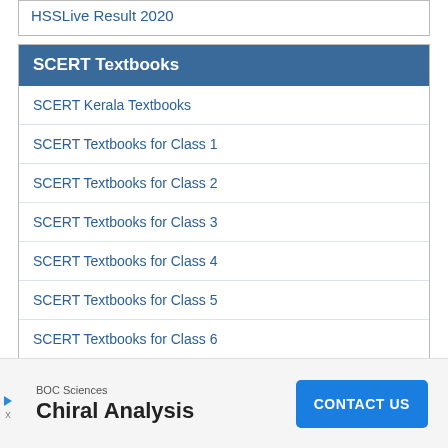HSSLive Result 2020
SCERT Textbooks
SCERT Kerala Textbooks
SCERT Textbooks for Class 1
SCERT Textbooks for Class 2
SCERT Textbooks for Class 3
SCERT Textbooks for Class 4
SCERT Textbooks for Class 5
SCERT Textbooks for Class 6
SCERT Textbooks for Class 7
SCERT Textbooks for Class 8
BOC Sciences
Chiral Analysis
CONTACT US